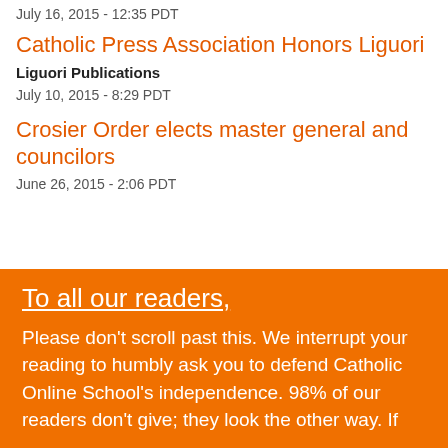July 16, 2015 - 12:35 PDT
Catholic Press Association Honors Liguori
Liguori Publications
July 10, 2015 - 8:29 PDT
Crosier Order elects master general and councilors
June 26, 2015 - 2:06 PDT
To all our readers,
Please don't scroll past this. We interrupt your reading to humbly ask you to defend Catholic Online School's independence. 98% of our readers don't give; they look the other way. If